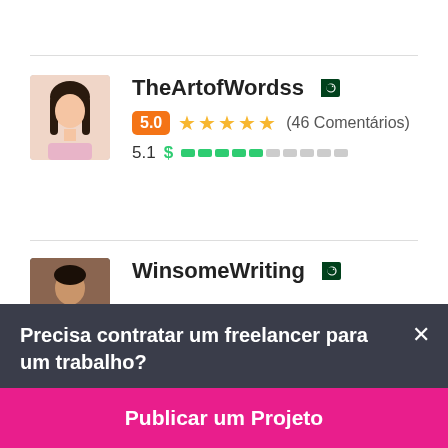[Figure (photo): Profile photo of TheArtofWordss, a woman with long dark hair]
TheArtofWordss 🇵🇰
5.0 ★★★★★ (46 Comentários)
5.1 $ ████░░░░░
[Figure (photo): Profile photo of WinsomeWriting, a man in dark clothing]
WinsomeWriting 🇵🇰
Precisa contratar um freelancer para um trabalho?
Publicar um Projeto